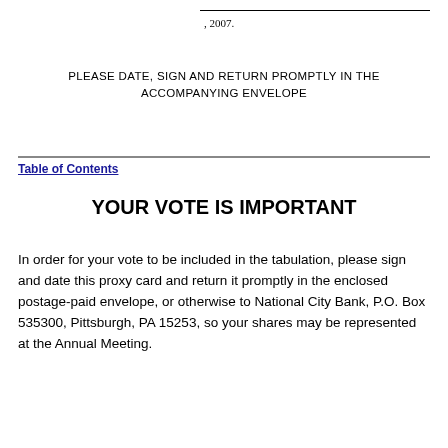, 2007.
PLEASE DATE, SIGN AND RETURN PROMPTLY IN THE ACCOMPANYING ENVELOPE
Table of Contents
YOUR VOTE IS IMPORTANT
In order for your vote to be included in the tabulation, please sign and date this proxy card and return it promptly in the enclosed postage-paid envelope, or otherwise to National City Bank, P.O. Box 535300, Pittsburgh, PA 15253, so your shares may be represented at the Annual Meeting.